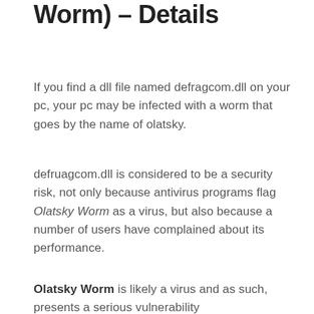Worm) – Details
If you find a dll file named defragcom.dll on your pc, your pc may be infected with a worm that goes by the name of olatsky.
defruagcom.dll is considered to be a security risk, not only because antivirus programs flag Olatsky Worm as a virus, but also because a number of users have complained about its performance.
Olatsky Worm is likely a virus and as such, presents a serious vulnerability